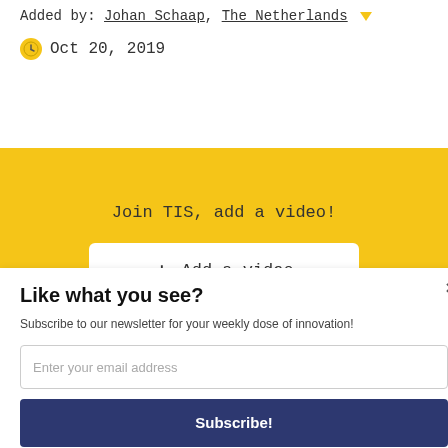Added by: Johan Schaap, The Netherlands ▼
Oct 20, 2019
Join TIS, add a video!
+ Add a video
Like what you see?
Subscribe to our newsletter for your weekly dose of innovation!
Enter your email address
Subscribe!